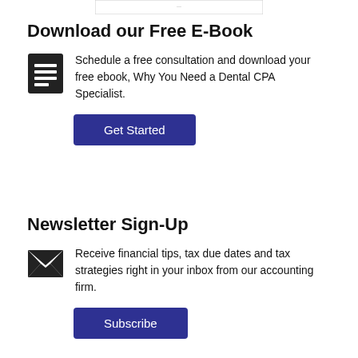[Figure (screenshot): Partial image/screenshot visible at top of page (cropped)]
Download our Free E-Book
[Figure (illustration): Book/document icon in dark square]
Schedule a free consultation and download your free ebook, Why You Need a Dental CPA Specialist.
Get Started
Newsletter Sign-Up
[Figure (illustration): Envelope/mail icon]
Receive financial tips, tax due dates and tax strategies right in your inbox from our accounting firm.
Subscribe